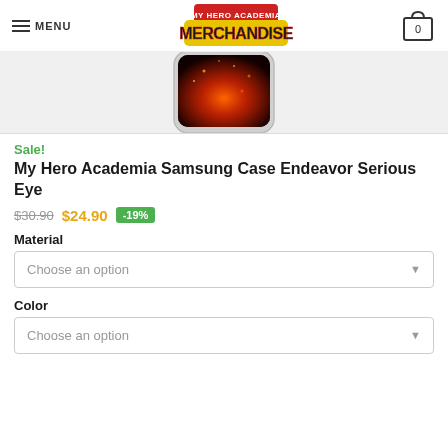MENU | My Hero Academia Merchandise | 0
[Figure (photo): Phone case showing Endeavor fire design, viewed from above in a light gray product photo area]
Sale!
My Hero Academia Samsung Case Endeavor Serious Eye
$30.90  $24.90  -19%
Material
Choose an option
Color
Choose an option